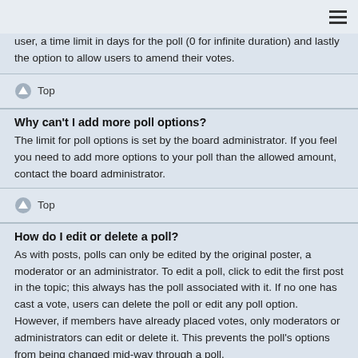≡
user, a time limit in days for the poll (0 for infinite duration) and lastly the option to allow users to amend their votes.
Top
Why can't I add more poll options?
The limit for poll options is set by the board administrator. If you feel you need to add more options to your poll than the allowed amount, contact the board administrator.
Top
How do I edit or delete a poll?
As with posts, polls can only be edited by the original poster, a moderator or an administrator. To edit a poll, click to edit the first post in the topic; this always has the poll associated with it. If no one has cast a vote, users can delete the poll or edit any poll option. However, if members have already placed votes, only moderators or administrators can edit or delete it. This prevents the poll's options from being changed mid-way through a poll.
Top
Why can't I access a forum?